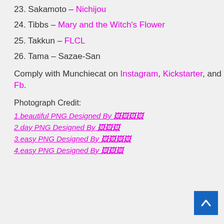23. Sakamoto – Nichijou
24. Tibbs – Mary and the Witch's Flower
25. Takkun – FLCL
26. Tama – Sazae-San
Comply with Munchiecat on Instagram, Kickstarter, and Fb.
Photograph Credit:
1.beautiful PNG Designed By 🖼🖼🖼🖼
2.day PNG Designed By 🖼🖼🖼
3.easy PNG Designed By 🖼🖼🖼🖼
4.easy PNG Designed By 🖼🖼🖼